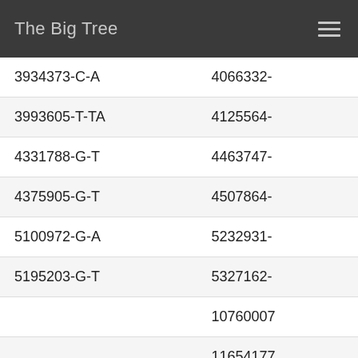The Big Tree
| Col1 | Col2 |
| --- | --- |
| 3934373-C-A | 4066332- |
| 3993605-T-TA | 4125564- |
| 4331788-G-T | 4463747- |
| 4375905-G-T | 4507864- |
| 5100972-G-A | 5232931- |
| 5195203-G-T | 5327162- |
|  | 10760007 |
|  | 11654177 |
| 13857541-A-T | 11736835 |
|  | 56844563 |
| 17889808-C-A | 15777928 |